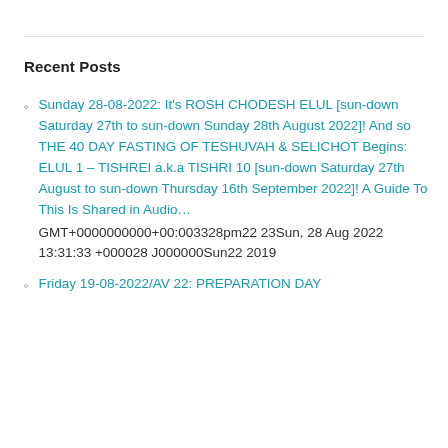Recent Posts
Sunday 28-08-2022: It's ROSH CHODESH ELUL [sun-down Saturday 27th to sun-down Sunday 28th August 2022]! And so THE 40 DAY FASTING OF TESHUVAH & SELICHOT Begins: ELUL 1 – TISHREI a.k.a TISHRI 10 [sun-down Saturday 27th August to sun-down Thursday 16th September 2022]! A Guide To This Is Shared in Audio… GMT+0000000000+00:003328pm22 23Sun, 28 Aug 2022 13:31:33 +000028 J000000Sun22 2019
Friday 19-08-2022/AV 22: PREPARATION DAY